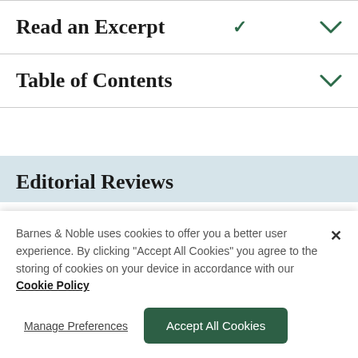Read an Excerpt
Table of Contents
Editorial Reviews
Barnes & Noble uses cookies to offer you a better user experience. By clicking "Accept All Cookies" you agree to the storing of cookies on your device in accordance with our Cookie Policy
Manage Preferences
Accept All Cookies